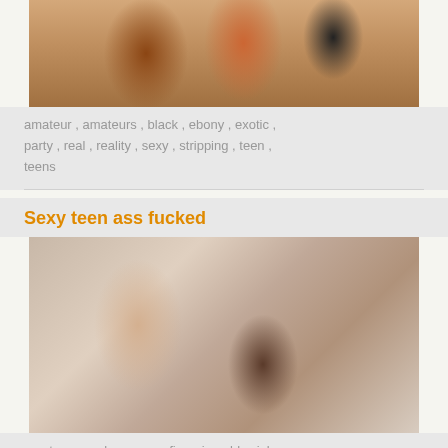[Figure (photo): Thumbnail photo of people at a party]
amateur , amateurs , black , ebony , exotic , party , real , reality , sexy , stripping , teen , teens
Sexy teen ass fucked
[Figure (photo): Thumbnail photo of two people on a pink couch]
amateur , anal , ass , assfingering , blowjob , british , european , fucked , hardcore , sexy , shoes , stockings , teen , teens
Pajama teens fucking during sexy sleepover party